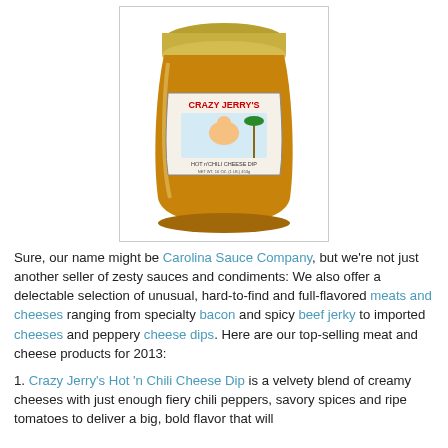[Figure (photo): A glass jar of Crazy Jerry's Hot 'n Chili Cheese Dip with a gold lid, containing an orange/amber colored cheese dip, with a product label showing the Crazy Jerry's branding and a cartoon character on a beach.]
Sure, our name might be Carolina Sauce Company, but we're not just another seller of zesty sauces and condiments: We also offer a delectable selection of unusual, hard-to-find and full-flavored meats and cheeses ranging from specialty bacon and spicy beef jerky to imported cheeses and peppery cheese dips. Here are our top-selling meat and cheese products for 2013:
1. Crazy Jerry's Hot 'n Chili Cheese Dip is a velvety blend of creamy cheeses with just enough fiery chili peppers, savory spices and ripe tomatoes to deliver a big, bold flavor that will